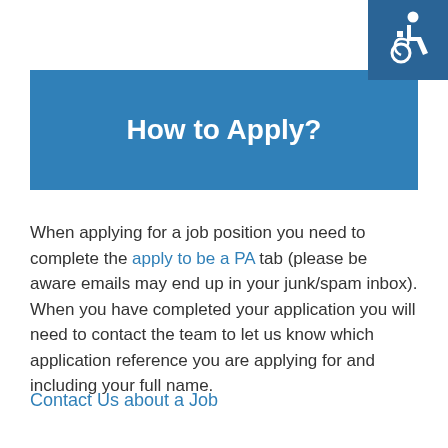[Figure (logo): Accessibility icon (wheelchair symbol) in white on dark teal/blue square background, top-right corner]
How to Apply?
When applying for a job position you need to complete the apply to be a PA tab (please be aware emails may end up in your junk/spam inbox). When you have completed your application you will need to contact the team to let us know which application reference you are applying for and including your full name.
Contact Us about a Job